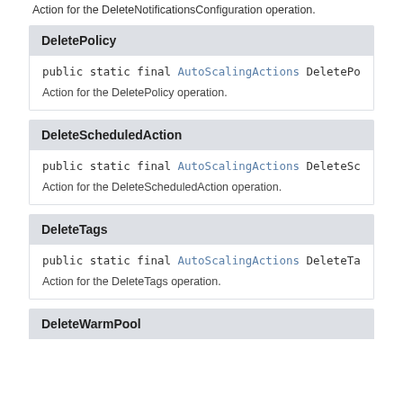Action for the DeleteNotificationsConfiguration operation.
DeletePolicy
public static final AutoScalingActions DeletePoli…
Action for the DeletePolicy operation.
DeleteScheduledAction
public static final AutoScalingActions DeleteSche…
Action for the DeleteScheduledAction operation.
DeleteTags
public static final AutoScalingActions DeleteTags…
Action for the DeleteTags operation.
DeleteWarmPool